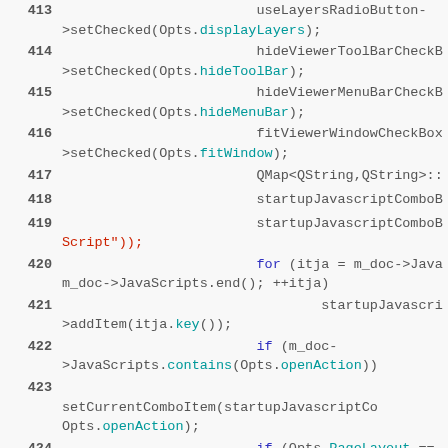[Figure (screenshot): Source code snippet showing C++ code lines 413-425 with syntax highlighting. Line numbers in bold gray on the left, code with blue keywords, teal identifiers, and red string literals.]